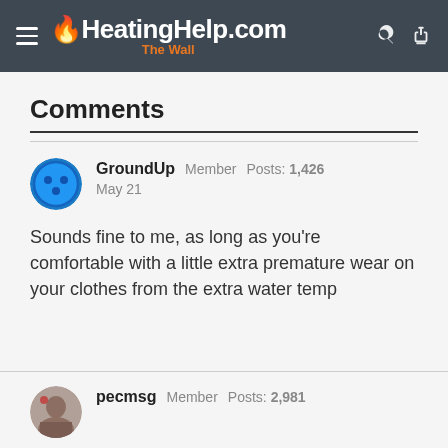HeatingHelp.com The Wall
Comments
GroundUp  Member  Posts: 1,426  May 21
Sounds fine to me, as long as you're comfortable with a little extra premature wear on your clothes from the extra water temp
pecmsg  Member  Posts: 2,981